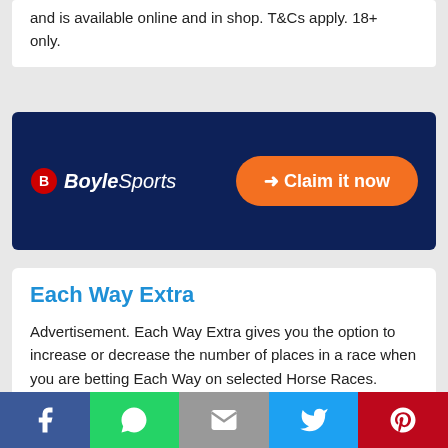and is available online and in shop. T&Cs apply. 18+ only.
[Figure (infographic): BoyleSports dark navy banner with BoyleSports logo on the left and an orange 'Claim it now' button on the right]
Each Way Extra
Advertisement. Each Way Extra gives you the option to increase or decrease the number of places in a race when you are betting Each Way on selected Horse Races. T&Cs apply.
[Figure (infographic): bet365 green banner with bet365 logo on the left and an orange 'Claim it now' button on the right (partially visible)]
[Figure (infographic): Social sharing bar with Facebook, WhatsApp, Email, Twitter, and Pinterest icons]